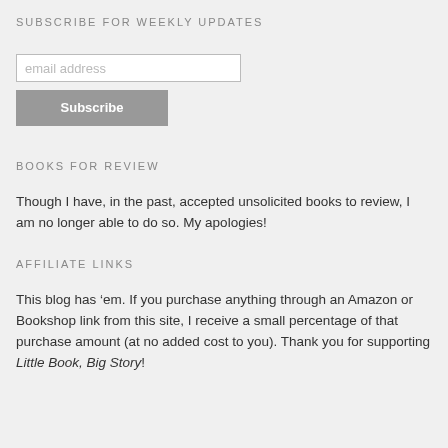SUBSCRIBE FOR WEEKLY UPDATES
[Figure (other): Email subscription form with text input field and Subscribe button]
BOOKS FOR REVIEW
Though I have, in the past, accepted unsolicited books to review, I am no longer able to do so. My apologies!
AFFILIATE LINKS
This blog has ’em. If you purchase anything through an Amazon or Bookshop link from this site, I receive a small percentage of that purchase amount (at no added cost to you). Thank you for supporting Little Book, Big Story!